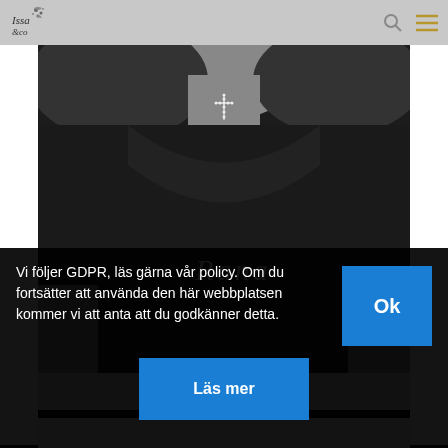[Figure (screenshot): Website header with logo on left (decorative script/floral logo) and search icon plus hamburger menu icon on right, on a gray background]
[Figure (photo): Black and white photo of a person wearing a black t-shirt with the cursive word 'Rana' printed on the chest, and a cross necklace visible at the neck]
Vi följer GDPR, läs gärna vår policy. Om du fortsätter att använda den här webbplatsen kommer vi att anta att du godkänner detta.
Ok
Läs mer